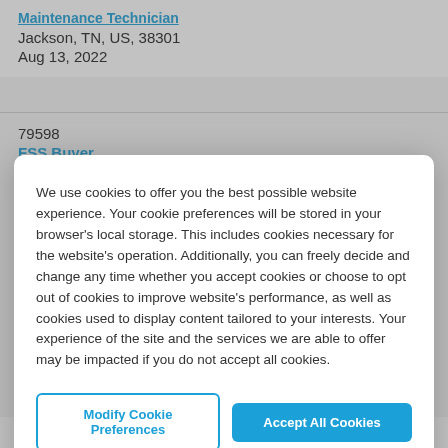Maintenance Technician
Jackson, TN, US, 38301
Aug 13, 2022
79598
FSS Buyer
We use cookies to offer you the best possible website experience. Your cookie preferences will be stored in your browser's local storage. This includes cookies necessary for the website's operation. Additionally, you can freely decide and change any time whether you accept cookies or choose to opt out of cookies to improve website's performance, as well as cookies used to display content tailored to your interests. Your experience of the site and the services we are able to offer may be impacted if you do not accept all cookies.
Modify Cookie Preferences
Accept All Cookies
Pearland, TX, US, 77507